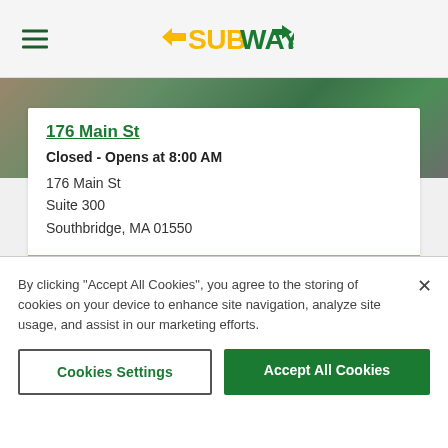SUBWAY (logo with hamburger menu)
176 Main St
Closed - Opens at 8:00 AM
176 Main St
Suite 300
Southbridge, MA 01550
Extra Mart C-Store
By clicking "Accept All Cookies", you agree to the storing of cookies on your device to enhance site navigation, analyze site usage, and assist in our marketing efforts.
Cookies Settings
Accept All Cookies